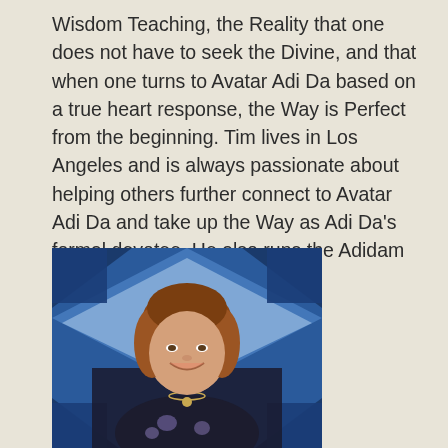Wisdom Teaching, the Reality that one does not have to seek the Divine, and that when one turns to Avatar Adi Da based on a true heart response, the Way is Perfect from the beginning. Tim lives in Los Angeles and is always passionate about helping others further connect to Avatar Adi Da and take up the Way as Adi Da's formal devotee. He also runs the Adidam Los Angeles bookstore.
[Figure (photo): Portrait photo of a woman with long reddish-brown hair, smiling, wearing a dark floral top and a pendant necklace, against a blue geometric quilt background.]